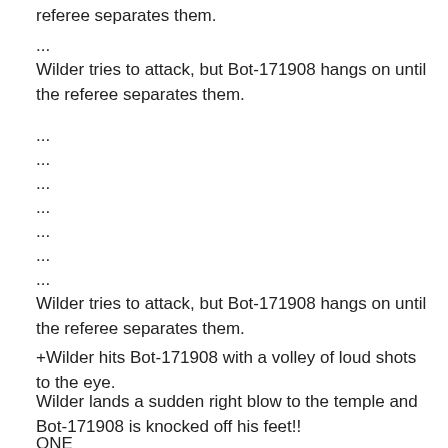referee separates them.
...
Wilder tries to attack, but Bot-171908 hangs on until the referee separates them.
...
...
...
...
...
...
...
Wilder tries to attack, but Bot-171908 hangs on until the referee separates them.
+Wilder hits Bot-171908 with a volley of loud shots to the eye.
Wilder lands a sudden right blow to the temple and Bot-171908 is knocked off his feet!!
ONE